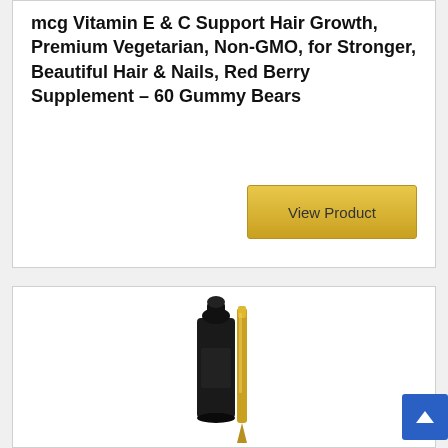mcg Vitamin E & C Support Hair Growth, Premium Vegetarian, Non-GMO, for Stronger, Beautiful Hair & Nails, Red Berry Supplement – 60 Gummy Bears
[Figure (other): Golden 'View Product' button]
[Figure (photo): Product photo showing a black dropper bottle with a gold/yellow applicator pen beside it, partially visible at bottom of card]